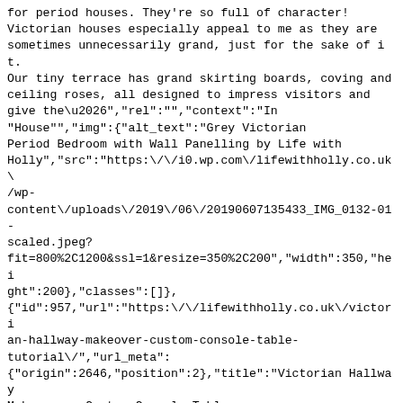for period houses. They're so full of character! Victorian houses especially appeal to me as they are sometimes unnecessarily grand, just for the sake of it. Our tiny terrace has grand skirting boards, coving and ceiling roses, all designed to impress visitors and give the\u2026","rel":"","context":"In &quot;House&quot;","img":{"alt_text":"Grey Victorian Period Bedroom with Wall Panelling by Life with Holly","src":"https:\/\/i0.wp.com\/lifewithholly.co.uk\/wp-content\/uploads\/2019\/06\/20190607135433_IMG_0132-01-scaled.jpeg?fit=800%2C1200&ssl=1&resize=350%2C200","width":350,"height":200},"classes":[]}, {"id":957,"url":"https:\/\/lifewithholly.co.uk\/victorian-hallway-makeover-custom-console-table-tutorial\/","url_meta": {"origin":2646,"position":2},"title":"Victorian Hallway Makeover &#8211; Custom Console Table Tutorial","date":"5 September 2018","format":false,"excerpt":"Following on from my posts on our Victorian hallway makeover (see HERE\u00a0and HERE), we needed a new console table to put all our hallway crap on. You know, like keys, spare change, candles, plants, mirrors - the usual stuff. I also needed something to disguise the radiator a bit. Here's\u2026","rel":"","context":"In &quot;House&quot;","img":{"alt_text":"Custom Console Table Victorian Hallway Makeover - Life with Holly","src":"https:\/\/i0.wp.com\/lifewithholly.co.uk\